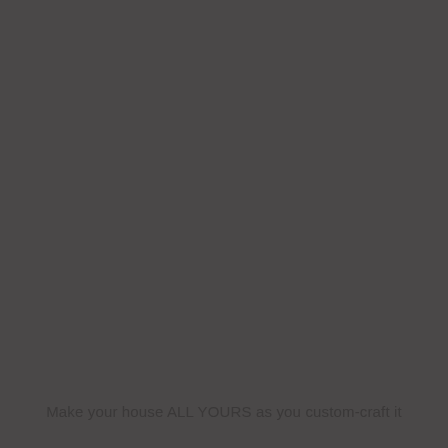Make your house ALL YOURS as you custom-craft it